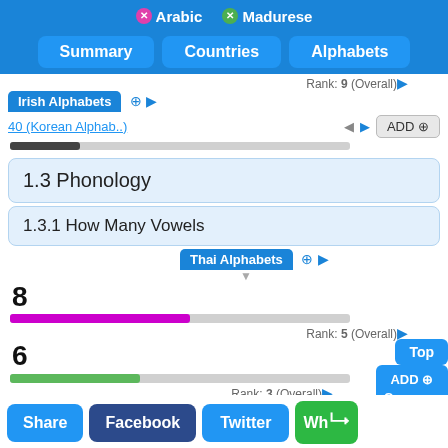Arabic  Madurese
Summary | Countries | Alphabets
Rank: 9 (Overall)
Irish Alphabets
40 (Korean Alphab..)  ADD
1.3 Phonology
1.3.1 How Many Vowels
Thai Alphabets
8
Rank: 5 (Overall)
6
Rank: 3 (Overall)
Hebrew Alphabets
10 (German Alphab..)  ADD
Top
ADD Compare